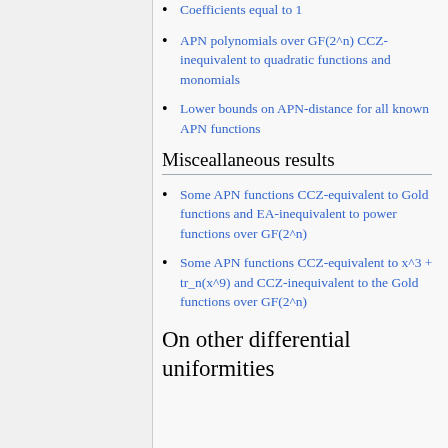Coefficients equal to 1
APN polynomials over GF(2^n) CCZ-inequivalent to quadratic functions and monomials
Lower bounds on APN-distance for all known APN functions
Misceallaneous results
Some APN functions CCZ-equivalent to Gold functions and EA-inequivalent to power functions over GF(2^n)
Some APN functions CCZ-equivalent to x^3 + tr_n(x^9) and CCZ-inequivalent to the Gold functions over GF(2^n)
On other differential uniformities